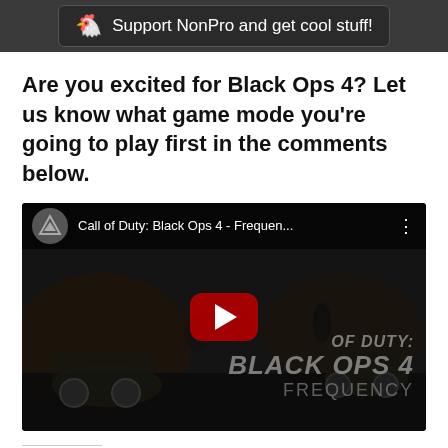Support NonPro and get cool stuff!
Are you excited for Black Ops 4? Let us know what game mode you’re going to play first in the comments below.
[Figure (screenshot): YouTube video embed showing Call of Duty: Black Ops 4 - Frequen... with a YouTube play button overlay on a dark game background showing text 'OF DUTY: BLACK OPS 4 FREQUENCY']
Share this: